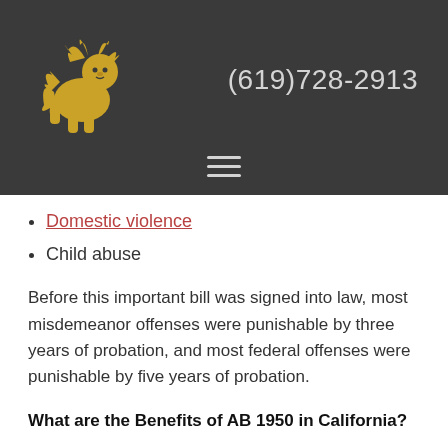[Figure (logo): Gold griffin/lion with scales of justice logo on dark background header with phone number (619)728-2913]
Domestic violence
Child abuse
Before this important bill was signed into law, most misdemeanor offenses were punishable by three years of probation, and most federal offenses were punishable by five years of probation.
What are the Benefits of AB 1950 in California?